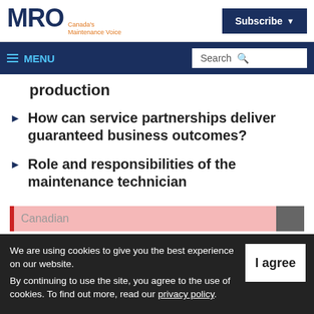MRO Canada's Maintenance Voice | Subscribe
≡ MENU | Search
production
How can service partnerships deliver guaranteed business outcomes?
Role and responsibilities of the maintenance technician
[Figure (other): Partial advertisement banner showing 'Canadian' text with red bar and pink background]
We are using cookies to give you the best experience on our website. By continuing to use the site, you agree to the use of cookies. To find out more, read our privacy policy.
I agree